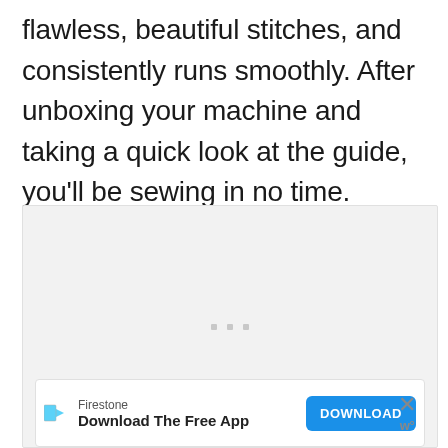flawless, beautiful stitches, and consistently runs smoothly. After unboxing your machine and taking a quick look at the guide, you'll be sewing in no time.
[Figure (other): Gray advertisement placeholder box with three small gray dots in the center, and an ad banner at the bottom for Firestone with a Download button and close icon.]